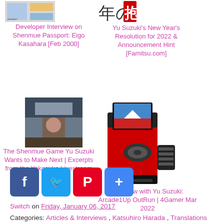[Figure (photo): Small thumbnail image of Shenmue Passport document pages]
Developer Interview on Shenmue Passport: Eigo Kasahara [Feb 2000]
[Figure (illustration): Japanese New Year graphic with kanji text in red and black]
Yu Suzuki's New Year's Resolution for 2022 & Announcement Hint [Famitsu.com]
[Figure (photo): Photo of a person indoors, appears to be Yu Suzuki or related figure at Yokosuka]
The Shenmue Game Yu Suzuki Wants to Make Next | Excerpts from the Yokosuka Livestream
[Figure (photo): Arcade1Up OutRun cabinet, red and black upright arcade machine with steering wheel]
Interview with Yu Suzuki: Arcade1Up OutRun | 4Gamer Mar 2022
[Figure (infographic): Social sharing buttons: Facebook, Twitter, Pinterest, Share]
Switch on Friday, January 06, 2017
Categories: Articles & Interviews , Katsuhiro Harada , Translations